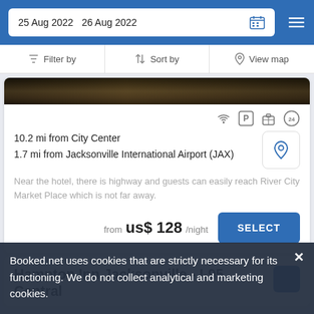25 Aug 2022  26 Aug 2022
Filter by  Sort by  View map
[Figure (photo): Hotel exterior photo, dark building at night]
10.2 mi from City Center
1.7 mi from Jacksonville International Airport (JAX)
Near the hotel, there is highway and guests can easily reach River City Market Place which is not far away.
from  us$ 128/night
SELECT
Hampton Inn Jacksonville - I-95 Central
Booked.net uses cookies that are strictly necessary for its functioning. We do not collect analytical and marketing cookies.